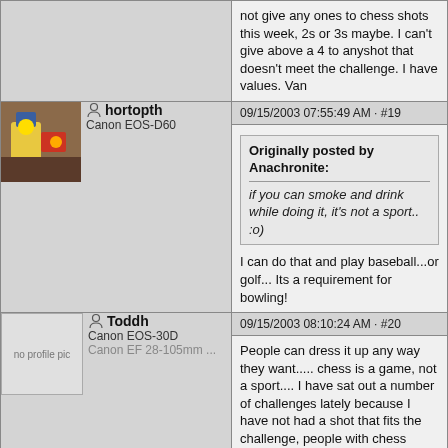not give any ones to chess shots this week, 2s or 3s maybe. I can't give above a 4 to anyshot that doesn't meet the challenge. I have values. Van
hortopth | Canon EOS-D60 | 09/15/2003 07:55:49 AM · #19
Originally posted by Anachronite: if you can smoke and drink while doing it, it's not a sport.. :o) I can do that and play baseball...or golf... Its a requirement for bowling!
Toddh | Canon EOS-30D | Canon EF 28-105mm ... | 09/15/2003 08:10:24 AM · #20
People can dress it up any way they want..... chess is a game, not a sport.... I have sat out a number of challenges lately because I have not had a shot that fits the challenge, people with chess shots should have done the same....
PaulMdx | Canon EOS-1D | Canon EF 70-200mm | 09/15/2003 08:38:03 AM · #21
Originally posted by joannadiva: